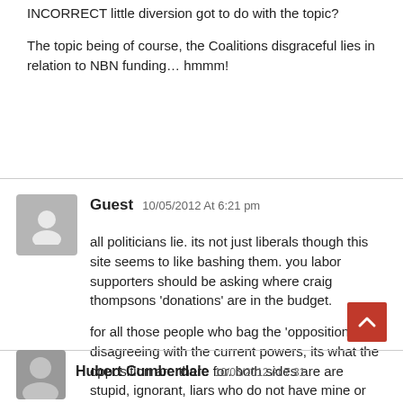INCORRECT little diversion got to do with the topic?
The topic being of course, the Coalitions disgraceful lies in relation to NBN funding… hmmm!
Guest 10/05/2012 At 6:21 pm
all politicians lie. its not just liberals though this site seems to like bashing them. you labor supporters should be asking where craig thompsons 'donations' are in the budget.
for all those people who bag the 'opposition' for disagreeing with the current powers, its what the opposition are there for. both sides are are stupid, ignorant, liars who do not have mine or your best interests at heart.
Hubert Cumberdale 10/05/2012 At 7:31...